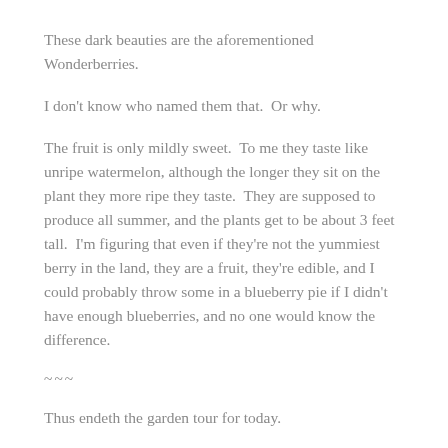These dark beauties are the aforementioned Wonderberries.
I don't know who named them that.  Or why.
The fruit is only mildly sweet.  To me they taste like unripe watermelon, although the longer they sit on the plant they more ripe they taste.  They are supposed to produce all summer, and the plants get to be about 3 feet tall.  I'm figuring that even if they're not the yummiest berry in the land, they are a fruit, they're edible, and I could probably throw some in a blueberry pie if I didn't have enough blueberries, and no one would know the difference.
~~~
Thus endeth the garden tour for today.